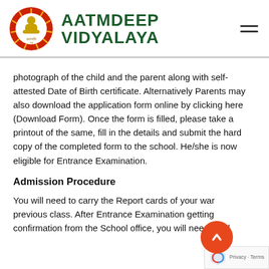AATMDEEP VIDYALAYA
photograph of the child and the parent along with self-attested Date of Birth certificate. Alternatively Parents may also download the application form online by clicking here (Download Form). Once the form is filled, please take a printout of the same, fill in the details and submit the hard copy of the completed form to the school. He/she is now eligible for Entrance Examination.
Admission Procedure
You will need to carry the Report cards of your ward previous class. After Entrance Examination getting confirmation from the School office, you will need to fill